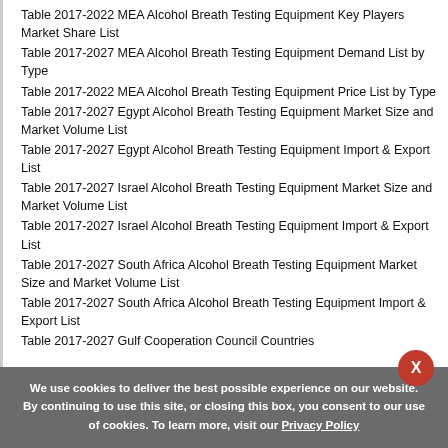Table 2017-2022 MEA Alcohol Breath Testing Equipment Key Players Market Share List
Table 2017-2027 MEA Alcohol Breath Testing Equipment Demand List by Type
Table 2017-2022 MEA Alcohol Breath Testing Equipment Price List by Type
Table 2017-2027 Egypt Alcohol Breath Testing Equipment Market Size and Market Volume List
Table 2017-2027 Egypt Alcohol Breath Testing Equipment Import & Export List
Table 2017-2027 Israel Alcohol Breath Testing Equipment Market Size and Market Volume List
Table 2017-2027 Israel Alcohol Breath Testing Equipment Import & Export List
Table 2017-2027 South Africa Alcohol Breath Testing Equipment Market Size and Market Volume List
Table 2017-2027 South Africa Alcohol Breath Testing Equipment Import & Export List
Table 2017-2027 Gulf Cooperation Council Countries
We use cookies to deliver the best possible experience on our website. By continuing to use this site, or closing this box, you consent to our use of cookies. To learn more, visit our Privacy Policy